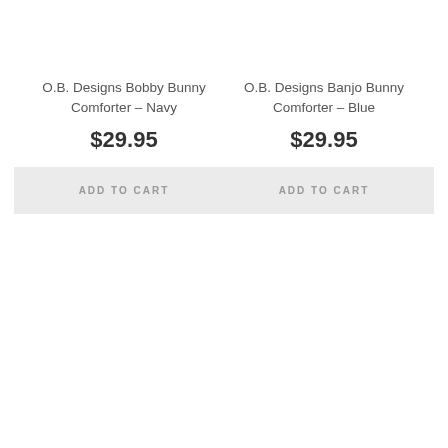O.B. Designs Bobby Bunny Comforter - Navy
$29.95
ADD TO CART
O.B. Designs Banjo Bunny Comforter - Blue
$29.95
ADD TO CART